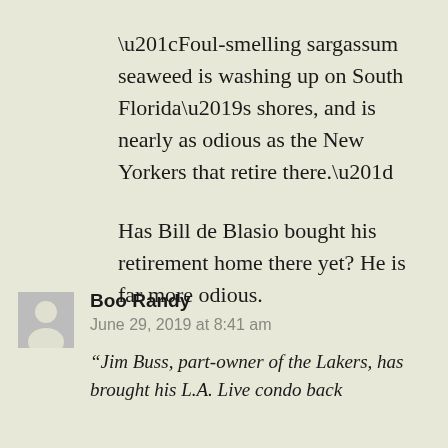“Foul-smelling sargassum seaweed is washing up on South Florida’s shores, and is nearly as odious as the New Yorkers that retire there.”

Has Bill de Blasio bought his retirement home there yet? He is far more odious.
Boo Randy
June 29, 2019 at 8:41 am
“Jim Buss, part-owner of the Lakers, has brought his L.A. Live condo back